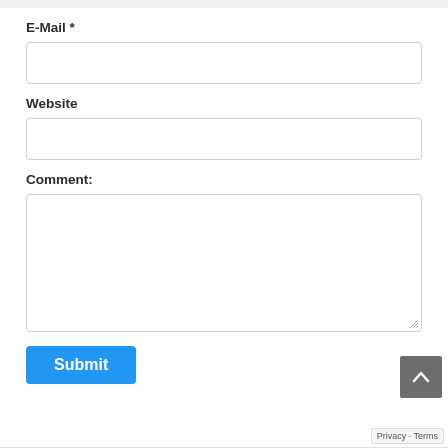E-Mail *
[Figure (screenshot): Empty text input field for E-Mail]
Website
[Figure (screenshot): Empty text input field for Website]
Comment:
[Figure (screenshot): Empty textarea input field for Comment with resize handle]
[Figure (screenshot): Blue Submit button]
[Figure (screenshot): Back to top arrow button (grey)]
Privacy - Terms